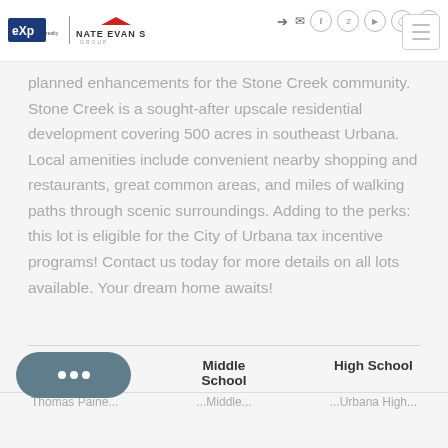eXp Realty | Nate Evans Group & luxury home division — navigation header
planned enhancements for the Stone Creek community. Stone Creek is a sought-after upscale residential development covering 500 acres in southeast Urbana. Local amenities include convenient nearby shopping and restaurants, great common areas, and miles of walking paths through scenic surroundings. Adding to the perks: this lot is eligible for the City of Urbana tax incentive programs! Contact us today for more details on all lots available. Your dream home awaits!
| Elementary School | Middle School | High School |
| --- | --- | --- |
| Thomas Paine | Urbana Middle | Urbana High |